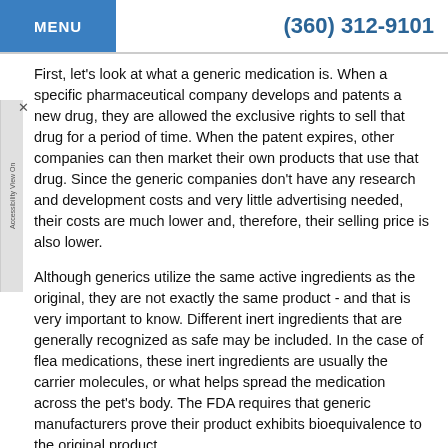MENU   (360) 312-9101
First, let's look at what a generic medication is. When a specific pharmaceutical company develops and patents a new drug, they are allowed the exclusive rights to sell that drug for a period of time. When the patent expires, other companies can then market their own products that use that drug. Since the generic companies don't have any research and development costs and very little advertising needed, their costs are much lower and, therefore, their selling price is also lower.
Although generics utilize the same active ingredients as the original, they are not exactly the same product - and that is very important to know. Different inert ingredients that are generally recognized as safe may be included. In the case of flea medications, these inert ingredients are usually the carrier molecules, or what helps spread the medication across the pet's body. The FDA requires that generic manufacturers prove their product exhibits bioequivalence to the original product.
In the case of flea medications, these inert ingredients are